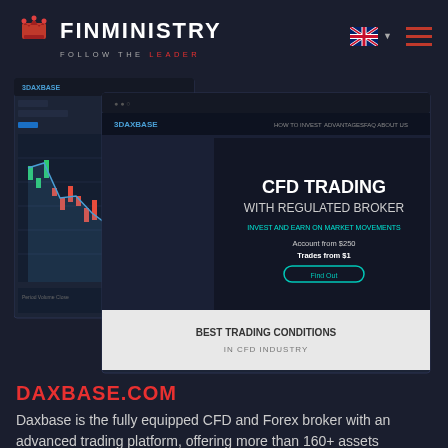FINMINISTRY — FOLLOW THE LEADER
[Figure (screenshot): Screenshot of DAXBASE trading platform website showing CFD Trading with Regulated Broker page, with trading chart interface on the left and main website landing page on the right displaying 'CFD TRADING WITH REGULATED BROKER', 'INVEST AND EARN ON MARKET MOVEMENTS', 'Account from $250', 'Trades from $1', and 'BEST TRADING CONDITIONS IN CFD INDUSTRY']
DAXBASE.COM
Daxbase is the fully equipped CFD and Forex broker with an advanced trading platform, offering more than 160+ assets including cryptocurrencies. Various